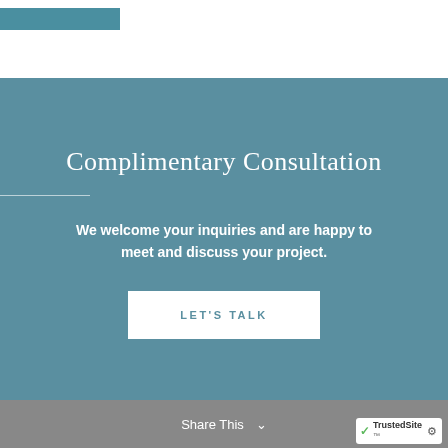[Figure (other): Teal/blue decorative bar at top left of white header area]
Complimentary Consultation
We welcome your inquiries and are happy to meet and discuss your project.
LET'S TALK
Share This